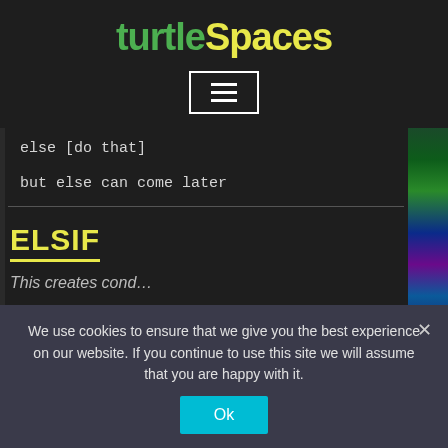turtleSpaces
[Figure (screenshot): Hamburger menu icon button with three horizontal white lines on dark background, bordered with white rectangle]
else [do that]
but else can come later
ELSIF
We use cookies to ensure that we give you the best experience on our website. If you continue to use this site we will assume that you are happy with it.